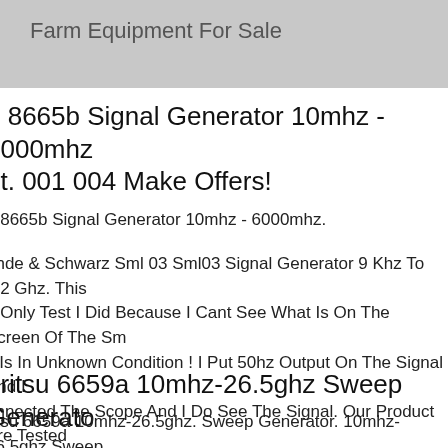Farm Equipment For Sale
Hp 8665b Signal Generator 10mhz - 6000mhz Opt. 001 004 Make Offers!
Hp 8665b Signal Generator 10mhz - 6000mhz.
Rohde & Schwarz Sml 03 Sml03 Signal Generator 9 Khz To 2.2 Ghz. This Is The Only Test I Did Because I Cant See What Is On The Screen Of The Sml. Unit Is In Unknown Condition ! I Put 50hz Output On The Signal And I Connected The Scope And I Do See The Signal. Our Product Are Tested Before They Leave Our Warehouse!
Anritsu 6659a 10mhz-26.5ghz Sweep Generator
Anritsu 6659a 10mhz-26.5ghz. Sweep Generator. 10mhz-26.5ghz Sweep Generator. Freq Acc Cw Mode +-20mhz Sweep +-30mhz Stability +-5mhzdegc. Sweep 0.01-99sec Mode Full,f1-f2,m1-m2,deltaf0,deltaf1. If